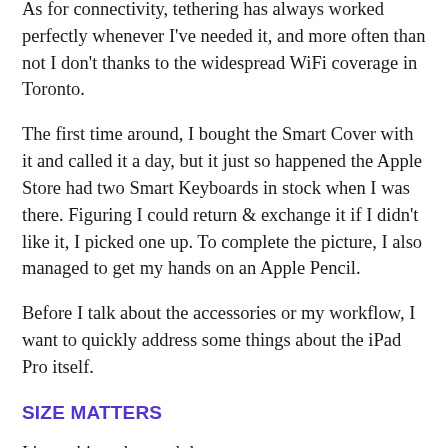As for connectivity, tethering has always worked perfectly whenever I've needed it, and more often than not I don't thanks to the widespread WiFi coverage in Toronto.
The first time around, I bought the Smart Cover with it and called it a day, but it just so happened the Apple Store had two Smart Keyboards in stock when I was there. Figuring I could return & exchange it if I didn't like it, I picked one up. To complete the picture, I also managed to get my hands on an Apple Pencil.
Before I talk about the accessories or my workflow, I want to quickly address some things about the iPad Pro itself.
SIZE MATTERS
It's too big to be used the way you use your current iPad